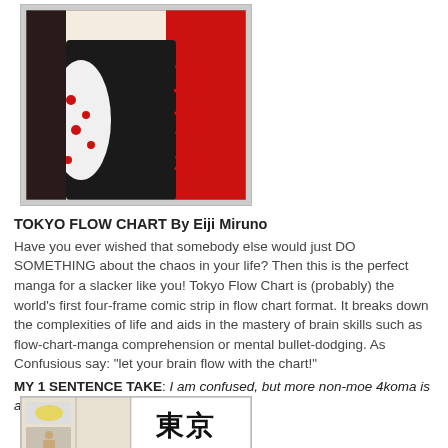[Figure (illustration): Manga cover art for Tokyo Flow Chart by Eiji Miruno, featuring figures in Japanese style with red calligraphy and floral motif on white kimono.]
TOKYO FLOW CHART By Eiji Miruno
Have you ever wished that somebody else would just DO SOMETHING about the chaos in your life? Then this is the perfect manga for a slacker like you! Tokyo Flow Chart is (probably) the world's first four-frame comic strip in flow chart format. It breaks down the complexities of life and aids in the mastery of brain skills such as flow-chart-manga comprehension or mental bullet-dodging. As Confusious say: “let your brain flow with the chart!”
MY 1 SENTENCE TAKE: I am confused, but more non-moe 4koma is always encouraged!
[Figure (illustration): Preview panel from Tokyo Flow Chart manga, showing a page with Japanese text and manga panels.]